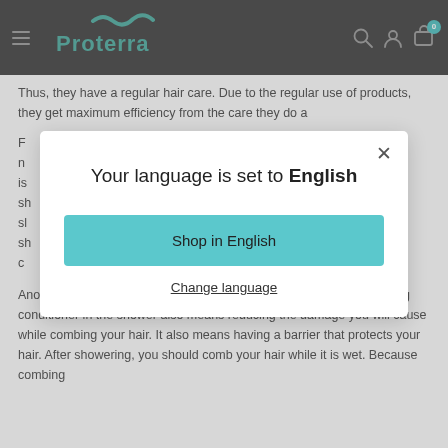Proterra — navigation header with logo, hamburger menu, search, account, and cart icons
Thus, they have a regular hair care. Due to the regular use of products, they get maximum efficiency from the care they do a
F n is sh sl sl sh c
[Figure (screenshot): Language selection modal dialog with title 'Your language is set to English', a teal 'Shop in English' button, and a 'Change language' text link. A close (×) button appears in the top right of the modal.]
Another important thing to do is to use conditioner in the shower. Using conditioner in the shower also means reducing the damage you will cause while combing your hair. It also means having a barrier that protects your hair. After showering, you should comb your hair while it is wet. Because combing